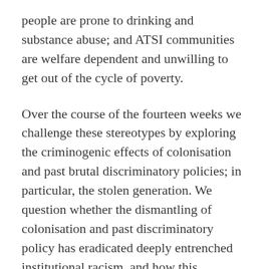people are prone to drinking and substance abuse; and ATSI communities are welfare dependent and unwilling to get out of the cycle of poverty.
Over the course of the fourteen weeks we challenge these stereotypes by exploring the criminogenic effects of colonisation and past brutal discriminatory policies; in particular, the stolen generation. We question whether the dismantling of colonisation and past discriminatory policy has eradicated deeply entrenched institutional racism, and how this continues to adversely impact on the material conditions and life chances of ATSI peoples. We also examine in detail the findings of the 1990 Royal Commission into Aboriginal Deaths in Custody (RCIADIC) and follow the tragic life trajectory of Malcom Smith, a child of the stolen generation, and